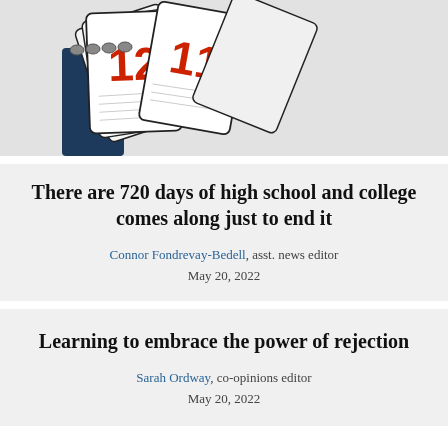[Figure (illustration): Illustration of calendar pages with red numbers 12 and 11 visible, fanning out from a dark blue calendar stand, on a light grey background.]
There are 720 days of high school and college comes along just to end it
Connor Fondrevay-Bedell, asst. news editor
May 20, 2022
Learning to embrace the power of rejection
Sarah Ordway, co-opinions editor
May 20, 2022